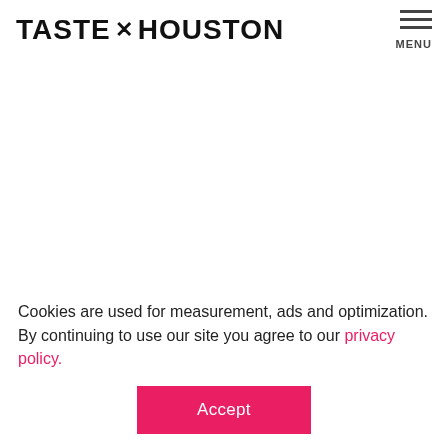TASTE × HOUSTON
MEDIA
CULINARY
ABOUT HOUSTON FIRST
FILM COMMISSION
Cookies are used for measurement, ads and optimization. By continuing to use our site you agree to our privacy policy.
Accept